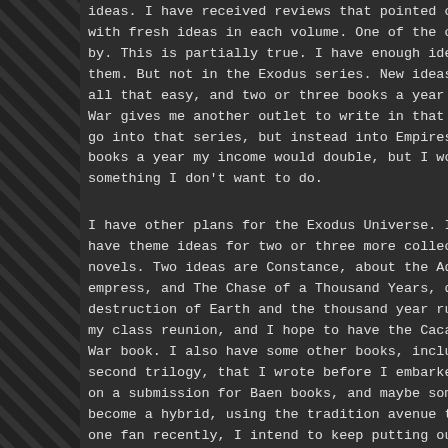ideas. I have received reviews that pointed out how the Empires at War comes with fresh ideas in each volume. One of the common tropes of writing is to write by. This is partially true. I have enough ideas to write a hundred books, not all of them. But not in the Exodus series. New ideas in a series that is not all that easy, and two or three books a year are about all I can do now. Empires at War gives me another outlet to write in that Universe, and also helps, as ideas that go into that series, but instead into Empires at War. If all I wanted to do was books a year my income would double, but I would eventually run the series dry, something I don't want to do.
I have other plans for the Exodus Universe. I will put out several more books, have theme ideas for two or three more collections of novellas, and maybe some novels. Two ideas are Constance, about the Admiral who revolted and became empress, and The Chase of a Thousand Years, detailing the contact, the destruction of Earth and the thousand year run to a new start. I ta my class reunion, and I hope to have the Cacas I envisioned gracing the Empires at War book. I also have some other books, including another Deep D second trilogy, that I wrote before I embarked on an independent c on a submission for Baen books, and maybe some other publisher i become a hybrid, using the tradition avenue to grow readership for one fan recently, I intend to keep putting out the independent boo traditionally published book can't help but gain exposure. And the